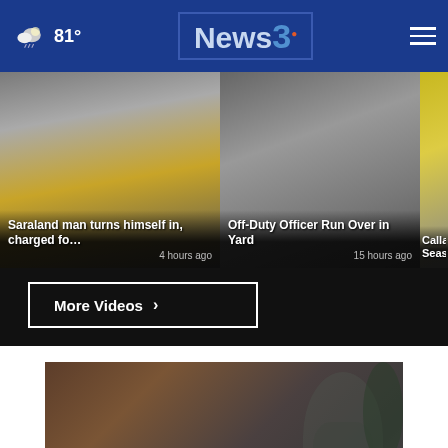News3 navigation bar with weather 81° and hamburger menu
[Figure (screenshot): Video thumbnail 1: Saraland man turns himself in, charged fo... — 4 hours ago]
[Figure (screenshot): Video thumbnail 2: Off-Duty Officer Run Over in Yard — 15 hours ago]
[Figure (screenshot): Video thumbnail 3: Callaw... Seaso... (partially visible)]
More Videos ›
[Figure (photo): Veterans PSA ad: Veterans, whatever you're going through, you don't have to do it alone. Woman with head in hand in background.]
[Figure (photo): Donate banner: ALL DONATIONS BENEFIT LOCAL VETERANS IN GEORGIA AND PHENIX CITY. DONATE NOW!]